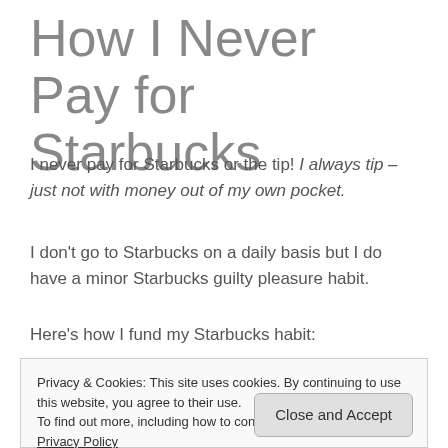How I Never Pay for Starbucks
I never pay for Starbucks or the tip! I always tip – just not with money out of my own pocket.
I don't go to Starbucks on a daily basis but I do have a minor Starbucks guilty pleasure habit.
Here's how I fund my Starbucks habit:
Privacy & Cookies: This site uses cookies. By continuing to use this website, you agree to their use.
To find out more, including how to control cookies, see here: Privacy Policy
[Close and Accept button]
I always choose Starbucks.